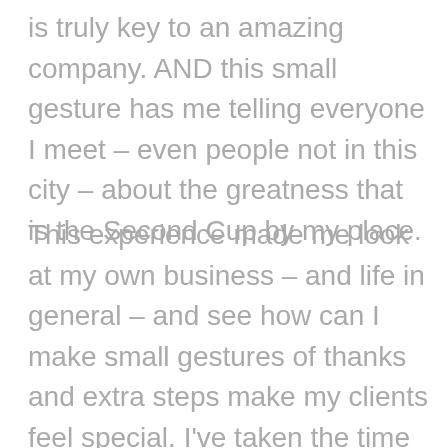is truly key to an amazing company. AND this small gesture has me telling everyone I meet – even people not in this city – about the greatness that is the Second Cup by my place.
This experience made me look at my own business – and life in general – and see how can I make small gestures of thanks and extra steps make my clients feel special. I've taken the time to see that my processes for my clients are as simple as possible, providing them with a better experience, and ensuring that even small